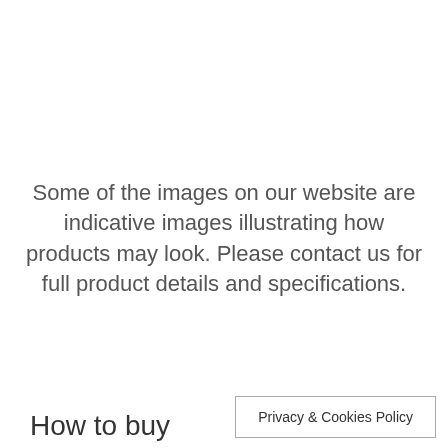Some of the images on our website are indicative images illustrating how products may look. Please contact us for full product details and specifications.
How to buy
Privacy & Cookies Policy